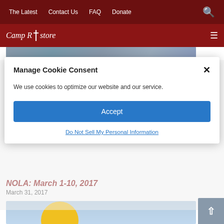The Latest  Contact Us  FAQ  Donate
[Figure (logo): Camp Restore logo with cross icon on dark red background]
[Figure (photo): Partially visible outdoor photo with blue/purple flowers and greenery]
Manage Cookie Consent
We use cookies to optimize our website and our service.
Accept
Do Not Sell My Personal Information
NOLA: March 1-10, 2017
March 31, 2017
[Figure (photo): Partial view of image with light blue sky and yellow circle/sun shape]